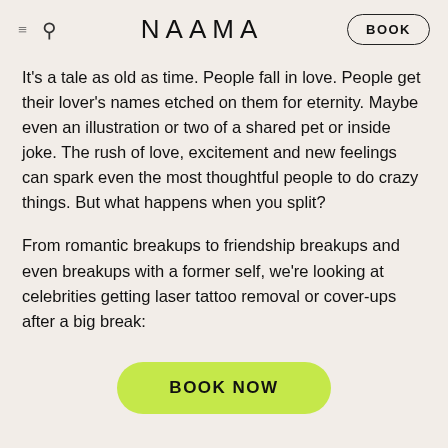NAAMA | BOOK
It’s a tale as old as time. People fall in love. People get their lover’s names etched on them for eternity. Maybe even an illustration or two of a shared pet or inside joke. The rush of love, excitement and new feelings can spark even the most thoughtful people to do crazy things. But what happens when you split?
From romantic breakups to friendship breakups and even breakups with a former self, we’re looking at celebrities getting laser tattoo removal or cover-ups after a big break:
BOOK NOW